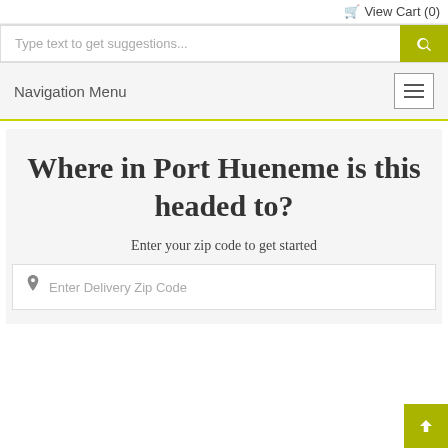View Cart (0)
Type text to get suggestions...
Navigation Menu
Where in Port Hueneme is this headed to?
Enter your zip code to get started
Enter Delivery Zip Code